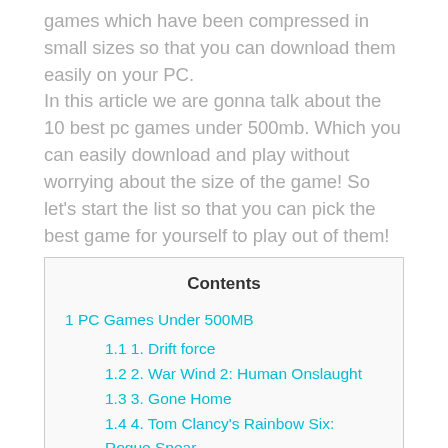games which have been compressed in small sizes so that you can download them easily on your PC. In this article we are gonna talk about the 10 best pc games under 500mb. Which you can easily download and play without worrying about the size of the game! So let's start the list so that you can pick the best game for yourself to play out of them!
Contents
1 PC Games Under 500MB
1.1 1. Drift force
1.2 2. War Wind 2: Human Onslaught
1.3 3. Gone Home
1.4 4. Tom Clancy's Rainbow Six: Rogue Spear
1.5 5. Spiderman 2000
1.6 6. Zombie Hobby VR
1.7 7. Sim City 3000
1.8 8. Sniper: path of vengeance